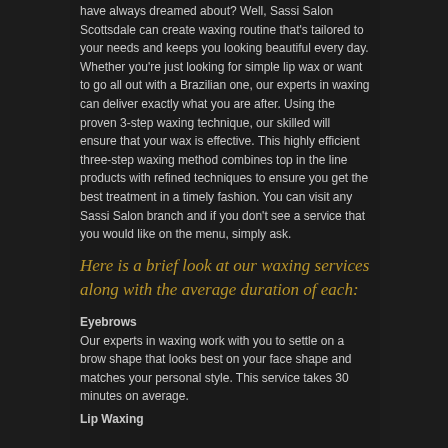have always dreamed about? Well, Sassi Salon Scottsdale can create waxing routine that's tailored to your needs and keeps you looking beautiful every day. Whether you're just looking for simple lip wax or want to go all out with a Brazilian one, our experts in waxing can deliver exactly what you are after. Using the proven 3-step waxing technique, our skilled will ensure that your wax is effective. This highly efficient three-step waxing method combines top in the line products with refined techniques to ensure you get the best treatment in a timely fashion. You can visit any Sassi Salon branch and if you don't see a service that you would like on the menu, simply ask.
Here is a brief look at our waxing services along with the average duration of each:
Eyebrows
Our experts in waxing work with you to settle on a brow shape that looks best on your face shape and matches your personal style. This service takes 30 minutes on average.
Lip Waxing